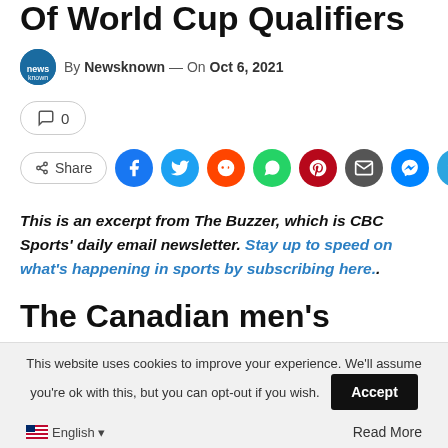Of World Cup Qualifiers
By Newsknown — On Oct 6, 2021
💬 0
[Figure (infographic): Share button row with social media icons: Facebook, Twitter, Reddit, WhatsApp, Pinterest, Email, Messenger, Telegram]
This is an excerpt from The Buzzer, which is CBC Sports' daily email newsletter. Stay up to speed on what's happening in sports by subscribing here.
The Canadian men's soccer
This website uses cookies to improve your experience. We'll assume you're ok with this, but you can opt-out if you wish.
Accept
English ▾
Read More